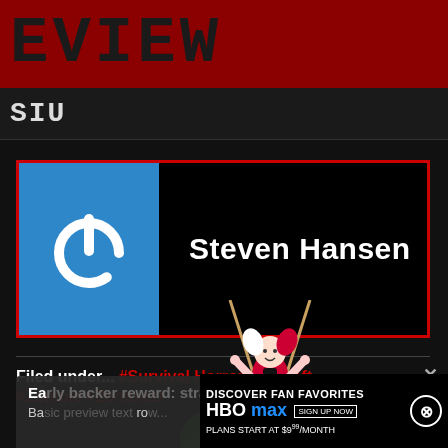EVIEW
SIU
[Figure (screenshot): Author profile card for Steven Hansen with a blue power-button icon on the left and the name 'Steven Hansen' in white text on black background, bordered by a red rectangle]
Filed under... #Survival Horror #Ubisoft #Zombie #ZombieU
[Figure (illustration): Harley Quinn cartoon illustration swinging on a vine/rope over a flowers background]
Ea... ba... ...wt ...ight
Ba... ro...
[Figure (screenshot): HBO Max advertisement: DISCOVER FAN FAVORITES / HBO max SIGN UP NOW / PLANS START AT $9⁹⁹/MONTH with close button]